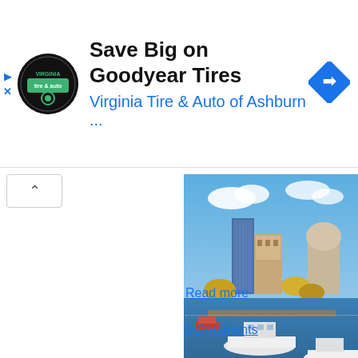[Figure (screenshot): Advertisement banner: Virginia Tire & Auto logo, text 'Save Big on Goodyear Tires', subtitle 'Virginia Tire & Auto of Ashburn ...', with a blue navigation arrow icon on the right and ad controls (play and close buttons) on the left.]
[Figure (photo): City skyline photo showing a waterfront marina with white yachts/boats in the foreground and a city skyline with tall buildings, historic architecture, and a dome visible in the background under a blue sky with clouds.]
Read more
0 Comments